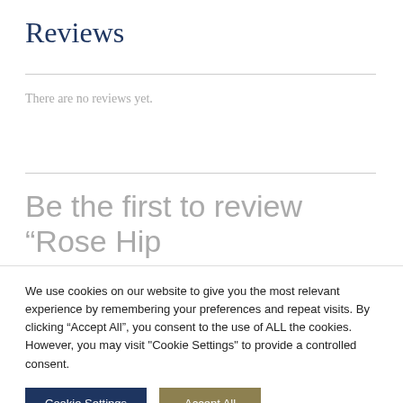Reviews
There are no reviews yet.
Be the first to review “Rose Hip
We use cookies on our website to give you the most relevant experience by remembering your preferences and repeat visits. By clicking “Accept All”, you consent to the use of ALL the cookies. However, you may visit "Cookie Settings" to provide a controlled consent.